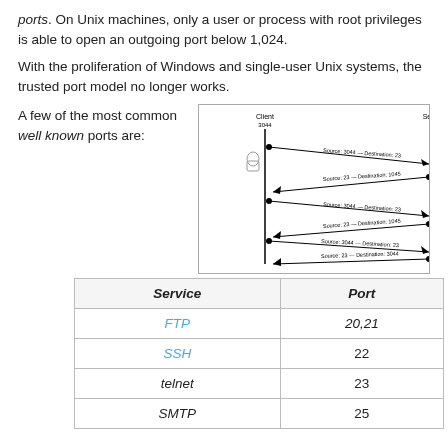ports. On Unix machines, only a user or process with root privileges is able to open an outgoing port below 1,024.
With the proliferation of Windows and single-user Unix systems, the trusted port model no longer works.
A few of the most common well known ports are:
[Figure (schematic): Network diagram showing a client (port 3044) and server (port 23) communicating with labeled arrows indicating source and destination ports for a series of packets.]
| Service | Port |
| --- | --- |
| FTP | 20,21 |
| SSH | 22 |
| telnet | 23 |
| SMTP | 25 |